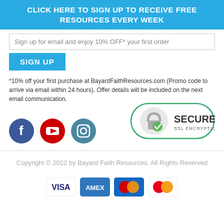CLICK HERE TO SIGN UP TO RECEIVE FREE RESOURCES EVERY WEEK
Sign up for email and enjoy 10% OFF* your first order
SIGN UP
*10% off your first purchase at BayardFaithResources.com (Promo code to arrive via email within 24 hours). Offer details will be included on the next email communication.
[Figure (illustration): Social media icons: Facebook (blue circle with f), YouTube (red circle with play button), Instagram (blue-grey circle with camera)]
[Figure (illustration): Secure SSL Encryption badge: padlock icon with green checkmark and text SECURE SSL ENCRYPTION]
Copyright © 2022 by Bayard Faith Resources. All Rights Reserved
[Figure (illustration): Payment method icons: VISA, AMEX, Mastercard (blue), Mastercard (red/yellow)]